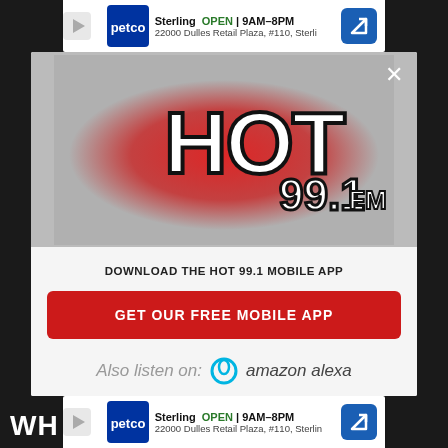[Figure (screenshot): Top advertisement banner for Petco - Sterling store, OPEN 9AM-8PM, 22000 Dulles Retail Plaza #110, Sterli]
[Figure (logo): Hot 99.1 FM radio station logo with red glowing background and graffiti-style lettering]
DOWNLOAD THE HOT 99.1 MOBILE APP
GET OUR FREE MOBILE APP
Also listen on: amazon alexa
[Figure (screenshot): Bottom advertisement banner for Petco - Sterling store, OPEN 9AM-8PM, 22000 Dulles Retail Plaza, #110, Sterlin]